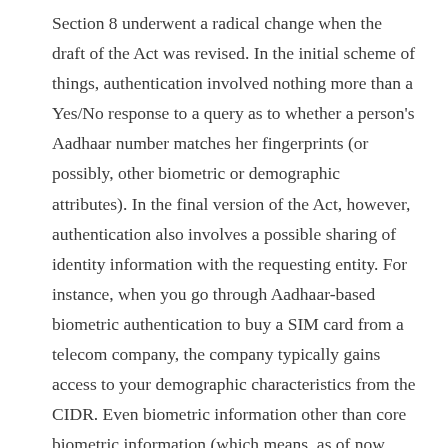Section 8 underwent a radical change when the draft of the Act was revised. In the initial scheme of things, authentication involved nothing more than a Yes/No response to a query as to whether a person's Aadhaar number matches her fingerprints (or possibly, other biometric or demographic attributes). In the final version of the Act, however, authentication also involves a possible sharing of identity information with the requesting entity. For instance, when you go through Aadhaar-based biometric authentication to buy a SIM card from a telecom company, the company typically gains access to your demographic characteristics from the CIDR. Even biometric information other than core biometric information (which means, as of now, photographs) can be shared with a requesting entity.
Quite likely, this little-noticed change in Section 8 has something to do with a growing realisation of the business